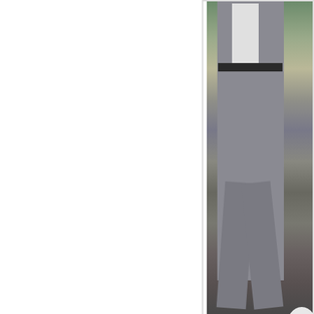[Figure (photo): A man in a grey suit walking on a street, photographed from mid-torso down, showing legs and black shoes on pavement with a gate and greenery in background.]
Photo from Zimbio.c…
Danny tweeted this photo saying "BH's helping fight breast cancer, w…
[Figure (photo): A man with short dark hair photographed from shoulders up, indoors near a window, with colorful items visible in the background.]